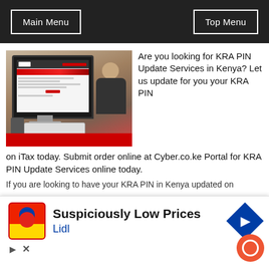Main Menu    Top Menu
[Figure (photo): Woman typing on a keyboard in front of a computer monitor showing the KRA iTax portal website]
Are you looking for KRA PIN Update Services in Kenya? Let us update for you your KRA PIN on iTax today. Submit order online at Cyber.co.ke Portal for KRA PIN Update Services online today.
If you are looking to have your KRA PIN in Kenya updated on
[Figure (screenshot): Advertisement banner: Suspiciously Low Prices - Lidl]